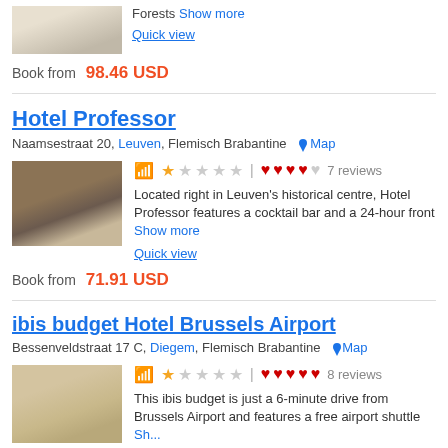[Figure (photo): Hotel room photo thumbnail at top]
Forests Show more
Quick view
Book from 98.46 USD
Hotel Professor
Naamsestraat 20, Leuven, Flemisch Brabantine  Map
[Figure (photo): Hotel Professor room photo]
Located right in Leuven's historical centre, Hotel Professor features a cocktail bar and a 24-hour front Show more
Quick view
Book from 71.91 USD
ibis budget Hotel Brussels Airport
Bessenveldstraat 17 C, Diegem, Flemisch Brabantine  Map
[Figure (photo): ibis budget hotel room photo]
This ibis budget is just a 6-minute drive from Brussels Airport and features a free airport shuttle Sh...